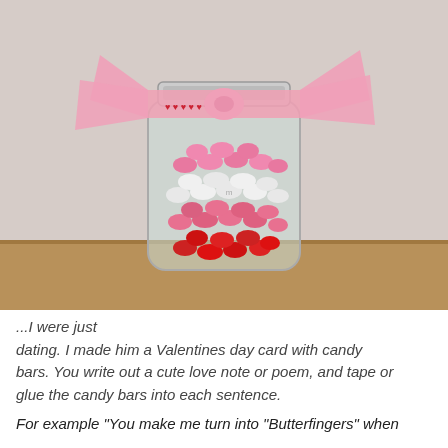[Figure (photo): A glass mason jar filled with layered M&M candies in red, pink, and white colors, decorated with a pink ribbon bow with red heart patterns tied around the lid. The jar sits on a wooden surface against a light wall.]
This website uses cookies to offer you a better experience. If you use this site, you consent to our use of cookies. Learn more
I Agree
...I were just dating. I made him a Valentines day card with candy bars. You write out a cute love note or poem, and tape or glue the candy bars into each sentence.
For example "You make me turn into "Butterfingers" when